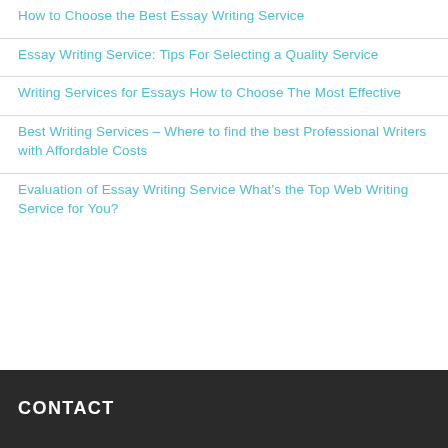How to Choose the Best Essay Writing Service
Essay Writing Service: Tips For Selecting a Quality Service
Writing Services for Essays How to Choose The Most Effective
Best Writing Services – Where to find the best Professional Writers with Affordable Costs
Evaluation of Essay Writing Service What's the Top Web Writing Service for You?
CONTACT